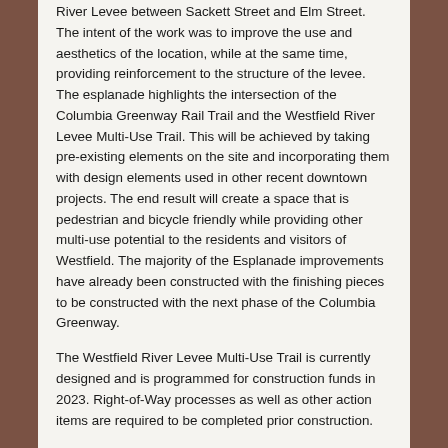River Levee between Sackett Street and Elm Street. The intent of the work was to improve the use and aesthetics of the location, while at the same time, providing reinforcement to the structure of the levee. The esplanade highlights the intersection of the Columbia Greenway Rail Trail and the Westfield River Levee Multi-Use Trail. This will be achieved by taking pre-existing elements on the site and incorporating them with design elements used in other recent downtown projects. The end result will create a space that is pedestrian and bicycle friendly while providing other multi-use potential to the residents and visitors of Westfield.  The majority of the Esplanade improvements have already been constructed with the finishing pieces to be constructed with the next phase of the Columbia Greenway.
The Westfield River Levee Multi-Use Trail is currently designed and is programmed for construction funds in 2023. Right-of-Way processes as well as other action items are required to be completed prior construction.
Westfield River Levee Trail: